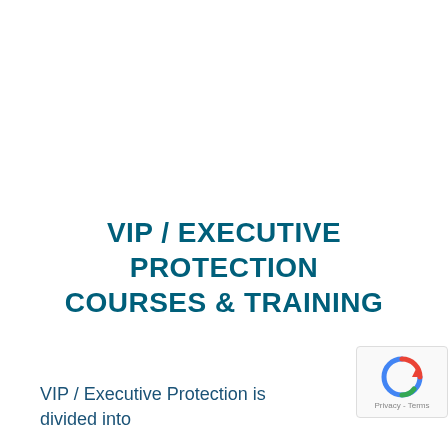VIP / EXECUTIVE PROTECTION COURSES & TRAINING
VIP / Executive Protection is divided into